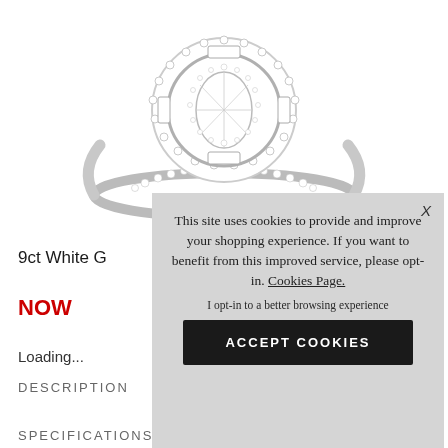[Figure (photo): A diamond ring with oval halo setting in white gold, shown from above on white background]
9ct White G
NOW
Loading...
DESCRIPTION
SPECIFICATIONS
This site uses cookies to provide and improve your shopping experience. If you want to benefit from this improved service, please opt-in. Cookies Page.
I opt-in to a better browsing experience
ACCEPT COOKIES